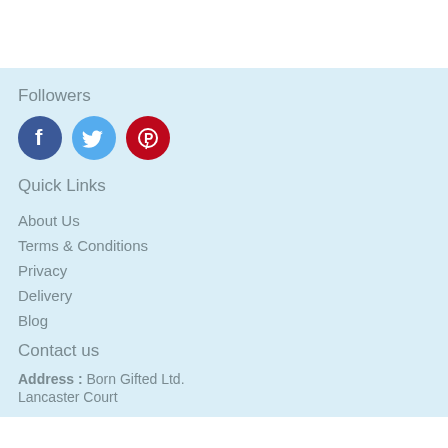Followers
[Figure (illustration): Three social media icons: Facebook (dark blue circle with 'f'), Twitter (light blue circle with bird), Pinterest (red circle with 'P' pin logo)]
Quick Links
About Us
Terms & Conditions
Privacy
Delivery
Blog
Contact us
Address : Born Gifted Ltd.
Lancaster Court